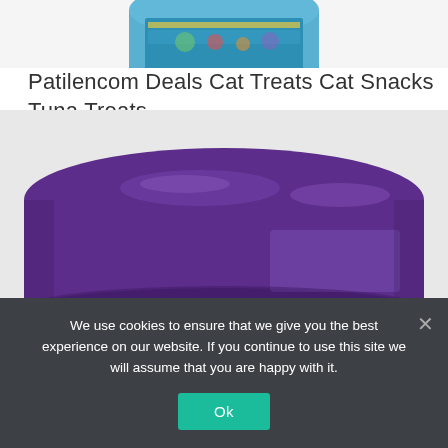[Figure (photo): Top portion of a product can with blue and colorful label, cropped at the top of the page]
Patilencom Deals Cat Treats Cat Snacks Tuna Treats
[Figure (photo): Close-up photo of a purple plastic lid on a glass jar/container, with some reddish content visible at the bottom through the glass]
We use cookies to ensure that we give you the best experience on our website. If you continue to use this site we will assume that you are happy with it.